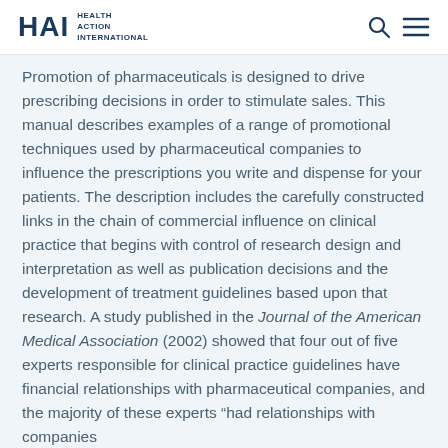HAI HEALTH ACTION INTERNATIONAL
Promotion of pharmaceuticals is designed to drive prescribing decisions in order to stimulate sales. This manual describes examples of a range of promotional techniques used by pharmaceutical companies to influence the prescriptions you write and dispense for your patients. The description includes the carefully constructed links in the chain of commercial influence on clinical practice that begins with control of research design and interpretation as well as publication decisions and the development of treatment guidelines based upon that research. A study published in the Journal of the American Medical Association (2002) showed that four out of five experts responsible for clinical practice guidelines have financial relationships with pharmaceutical companies, and the majority of these experts “had relationships with companies